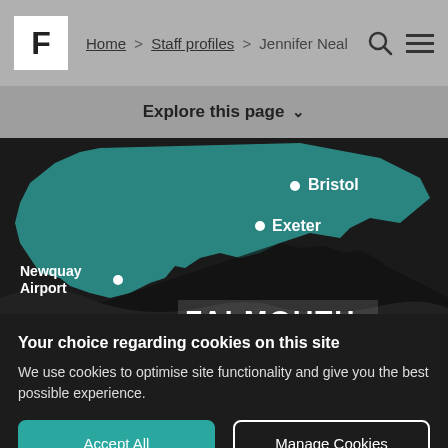Home > Staff profiles > Jennifer Neal
Explore this page
[Figure (map): Map of south-west England showing Falmouth, Newquay Airport, Exeter, and Bristol labeled. The region is shown in teal/dark teal on a dark background.]
Your choice regarding cookies on this site
We use cookies to optimise site functionality and give you the best possible experience.
Accept All
Manage Cookies